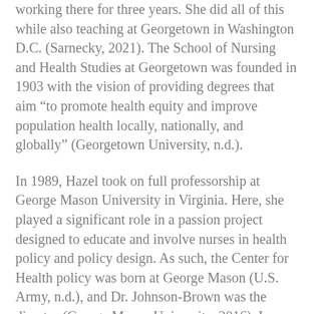working there for three years. She did all of this while also teaching at Georgetown in Washington D.C. (Sarnecky, 2021). The School of Nursing and Health Studies at Georgetown was founded in 1903 with the vision of providing degrees that aim “to promote health equity and improve population health locally, nationally, and globally” (Georgetown University, n.d.).
In 1989, Hazel took on full professorship at George Mason University in Virginia. Here, she played a significant role in a passion project designed to educate and involve nurses in health policy and policy design. As such, the Center for Health policy was born at George Mason (U.S. Army, n.d.), and Dr. Johnson-Brown was the director (George Mason University, 2016). In 1996, she was promoted to Professor Emeritus of the College of Nursing and Health Science. She worked here until her